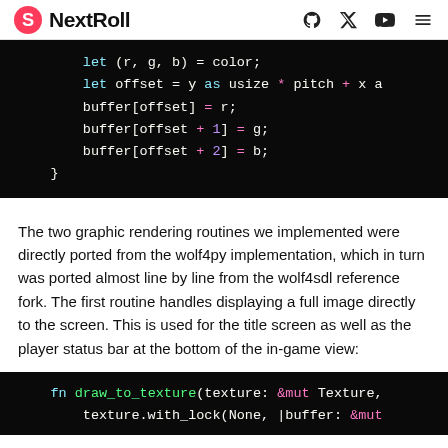NextRoll
[Figure (screenshot): Dark-themed code block showing Rust syntax for setting RGB buffer pixels: let (r,g,b) = color; let offset = y as usize * pitch + x as ...; buffer[offset] = r; buffer[offset + 1] = g; buffer[offset + 2] = b; }]
The two graphic rendering routines we implemented were directly ported from the wolf4py implementation, which in turn was ported almost line by line from the wolf4sdl reference fork. The first routine handles displaying a full image directly to the screen. This is used for the title screen as well as the player status bar at the bottom of the in-game view:
[Figure (screenshot): Dark-themed code block showing start of Rust function: fn draw_to_texture(texture: &mut Texture, texture.with_lock(None, |buffer: &mut ...]